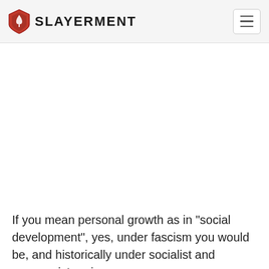SLAYERMENT
If you mean personal growth as in "social development", yes, under fascism you would be, and historically under socialist and communist regimes,